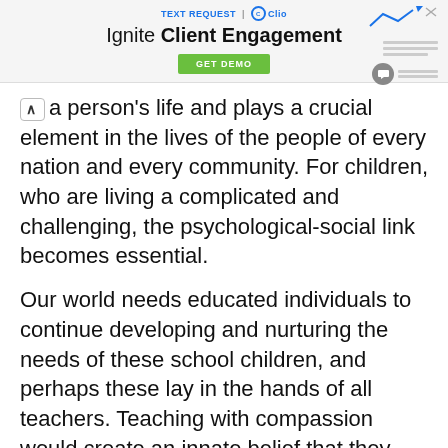[Figure (screenshot): Advertisement banner for Text Request and Clio: 'Ignite Client Engagement' with a green GET DEMO button and decorative graphic elements on the right]
a person's life and plays a crucial element in the lives of the people of every nation and every community. For children, who are living a complicated and challenging, the psychological-social link becomes essential.
Our world needs educated individuals to continue developing and nurturing the needs of these school children, and perhaps these lay in the hands of all teachers. Teaching with compassion would create an innate belief that they are an essential part of humanity as a whole.